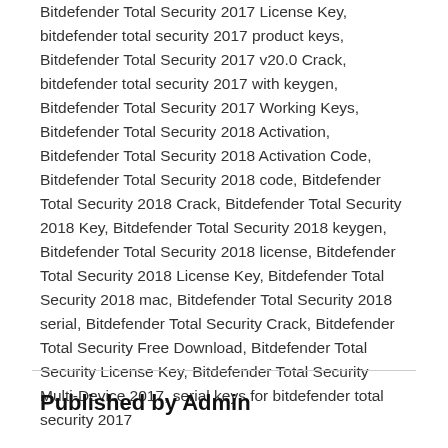Bitdefender Total Security 2017 License Key, bitdefender total security 2017 product keys, Bitdefender Total Security 2017 v20.0 Crack, bitdefender total security 2017 with keygen, Bitdefender Total Security 2017 Working Keys, Bitdefender Total Security 2018 Activation, Bitdefender Total Security 2018 Activation Code, Bitdefender Total Security 2018 code, Bitdefender Total Security 2018 Crack, Bitdefender Total Security 2018 Key, Bitdefender Total Security 2018 keygen, Bitdefender Total Security 2018 license, Bitdefender Total Security 2018 License Key, Bitdefender Total Security 2018 mac, Bitdefender Total Security 2018 serial, Bitdefender Total Security Crack, Bitdefender Total Security Free Download, Bitdefender Total Security License Key, Bitdefender Total Security Multi-Device 2017, serial keys for bitdefender total security 2017
Published by Admin